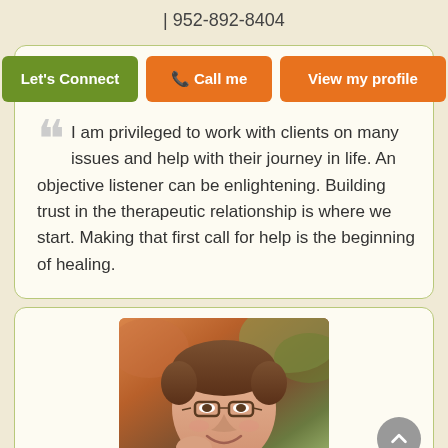| 952-892-8404
Let's Connect | Call me | View my profile
I am privileged to work with clients on many issues and help with their journey in life. An objective listener can be enlightening. Building trust in the therapeutic relationship is where we start. Making that first call for help is the beginning of healing.
[Figure (photo): Portrait photo of a man with glasses, brown hair, smiling, with an outdoor background.]